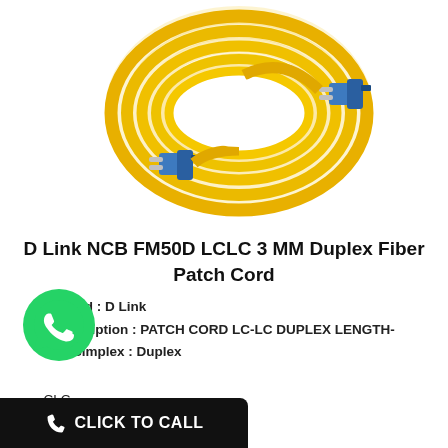[Figure (photo): Yellow fiber optic patch cord coiled in a loop with blue LC connectors on both ends, photographed on a white background.]
D Link NCB FM50D LCLC 3 MM Duplex Fiber Patch Cord
Brand : D Link
Description : PATCH CORD LC-LC DUPLEX LENGTH-
ex/Simplex : Duplex
CLC
[Figure (logo): WhatsApp green circular logo with phone handset icon]
CLICK TO CALL